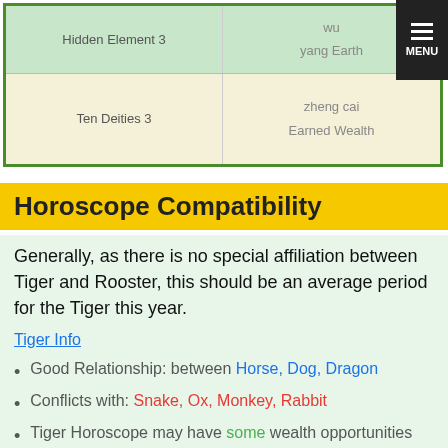|  |  |
| --- | --- |
| Hidden Element 3 | wu
yang Earth |
| Ten Deities 3 | zheng cai
Earned Wealth |
Horoscope Compatibility
Generally, as there is no special affiliation between Tiger and Rooster, this should be an average period for the Tiger this year.
Tiger Info
Good Relationship: between Horse, Dog, Dragon
Conflicts with: Snake, Ox, Monkey, Rabbit
Tiger Horoscope may have some wealth opportunities this year.